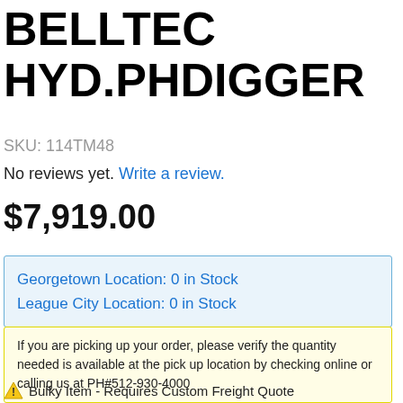BELLTEC HYD.PHDIGGER
SKU: 114TM48
No reviews yet. Write a review.
$7,919.00
Georgetown Location: 0 in Stock
League City Location: 0 in Stock
If you are picking up your order, please verify the quantity needed is available at the pick up location by checking online or calling us at PH#512-930-4000
Bulky Item - Requires Custom Freight Quote